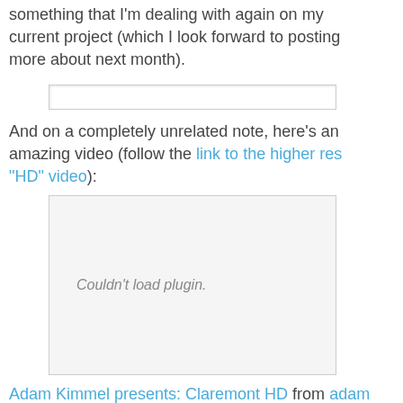something that I'm dealing with again on my current project (which I look forward to posting more about next month).
[Figure (other): A horizontal input/search bar UI element]
And on a completely unrelated note, here's an amazing video (follow the link to the higher res "HD" video):
[Figure (other): Embedded video plugin placeholder showing 'Couldn't load plugin.']
Adam Kimmel presents: Claremont HD from adam kimmel on Vimeo.
It's totally awesome in its own right, but I'm sure there are